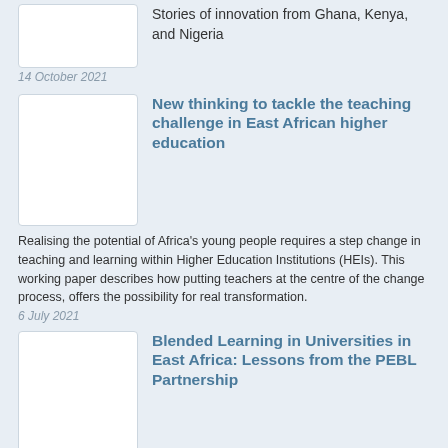Stories of innovation from Ghana, Kenya, and Nigeria
14 October 2021
New thinking to tackle the teaching challenge in East African higher education
Realising the potential of Africa's young people requires a step change in teaching and learning within Higher Education Institutions (HEIs). This working paper describes how putting teachers at the centre of the change process, offers the possibility for real transformation.
6 July 2021
Blended Learning in Universities in East Africa: Lessons from the PEBL Partnership
A summative evaluation of the Partnership for Blended